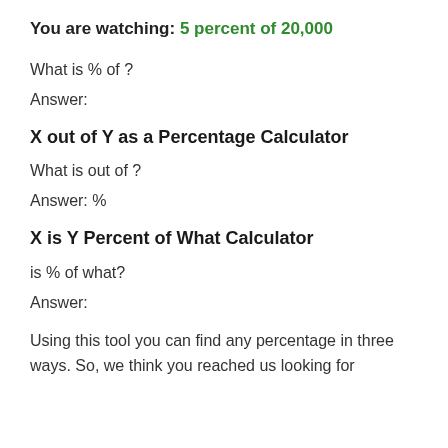You are watching: 5 percent of 20,000
What is % of ?
Answer:
X out of Y as a Percentage Calculator
What is out of ?
Answer: %
X is Y Percent of What Calculator
is % of what?
Answer:
Using this tool you can find any percentage in three ways. So, we think you reached us looking for